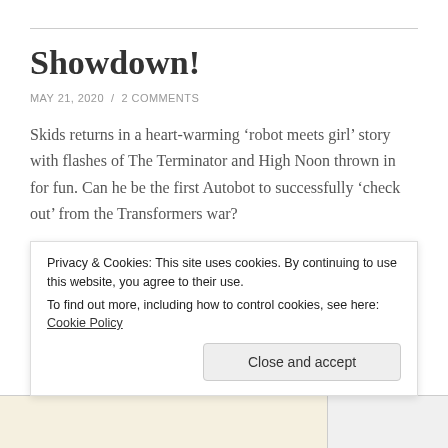Showdown!
MAY 21, 2020  /  2 COMMENTS
Skids returns in a heart-warming ‘robot meets girl’ story with flashes of The Terminator and High Noon thrown in for fun. Can he be the first Autobot to successfully ‘check out’ from the Transformers war?
[Figure (logo): The Transformers logo banner with green lettered title and Autobot symbol]
Privacy & Cookies: This site uses cookies. By continuing to use this website, you agree to their use.
To find out more, including how to control cookies, see here: Cookie Policy
Close and accept